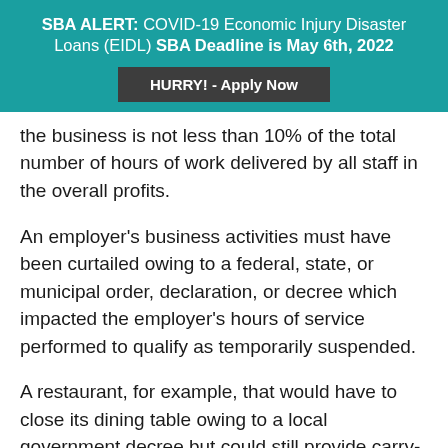SBA ALERT: COVID-19 Economic Injury Disaster Loans (EIDL) SBA Deadline is May 6th, 2022
[Figure (other): Dark grey button with text: HURRY! - Apply Now]
the business is not less than 10% of the total number of hours of work delivered by all staff in the overall profits.
An employer's business activities must have been curtailed owing to a federal, state, or municipal order, declaration, or decree which impacted the employer's hours of service performed to qualify as temporarily suspended.
A restaurant, for example, that would have to close its dining table owing to a local government decree but could still provide carry-out or delivery service was regarded to have partially ceased operations.